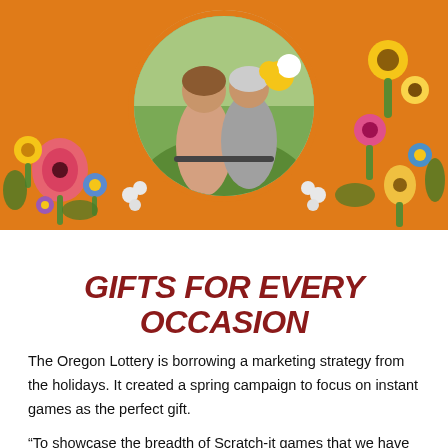[Figure (illustration): Orange banner with illustrated wildflowers (yellow sunflowers, pink poppies, blue daisies, purple blooms) on both sides, and a circular photo in the center top showing two people on bicycles with flowers, with an orange teardrop/tongue shape extending downward at the bottom center.]
GIFTS FOR EVERY OCCASION
The Oregon Lottery is borrowing a marketing strategy from the holidays. It created a spring campaign to focus on instant games as the perfect gift.
“To showcase the breadth of Scratch-it games that we have available and to ensure the single ticket does not sell out, we have moved from focusing on a singular game title to putting together a theme,” said Shad Barnes, Senior Manager, Digital Marketing. “May-June is a ‘Gifting Scratch-its’ campaign